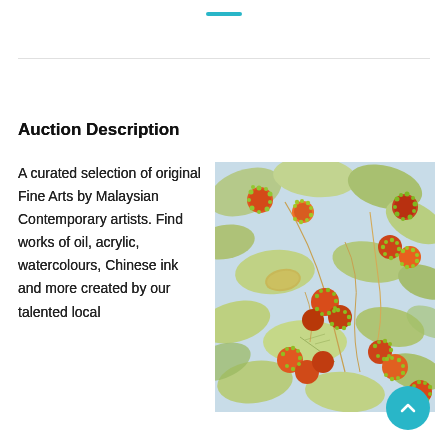—
Auction Description
A curated selection of original Fine Arts by Malaysian Contemporary artists. Find works of oil, acrylic, watercolours, Chinese ink and more created by our talented local
[Figure (photo): A botanical painting showing rambutan fruits (orange, red, green spiky fruits) hanging from branches with large green leaves, rendered in a detailed illustrative style.]